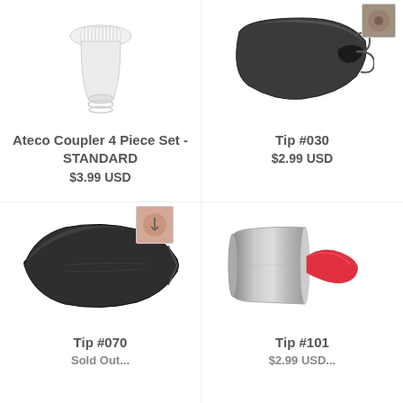[Figure (photo): Ateco Coupler 4 Piece Set - white plastic coupler product photo, top portion visible]
Ateco Coupler 4 Piece Set - STANDARD
$3.99 USD
[Figure (photo): Tip #030 - dark metallic curved petal piping tip, with small round thumbnail in top right corner]
Tip #030
$2.99 USD
[Figure (photo): Tip #070 - dark metallic leaf/feather piping tip with small pink thumbnail showing tip opening]
Tip #070
[Figure (photo): Tip #101 - stainless steel petal piping tip with red frosting example]
Tip #101